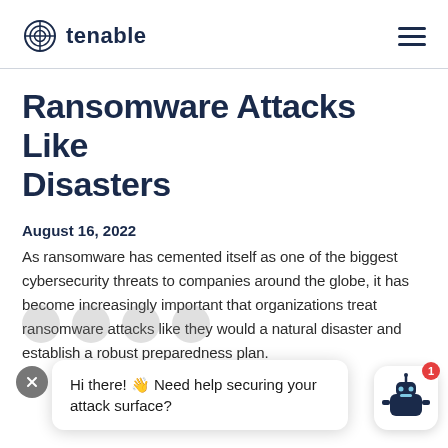tenable
Ransomware Attacks Like Disasters
August 16, 2022
As ransomware has cemented itself as one of the biggest cybersecurity threats to companies around the globe, it has become increasingly important that organizations treat ransomware attacks like they would a natural disaster and establish a robust preparedness plan.
[Figure (screenshot): Chat popup with close button, message 'Hi there! 👋 Need help securing your attack surface?' and a robot chatbot icon with red notification badge showing 1]